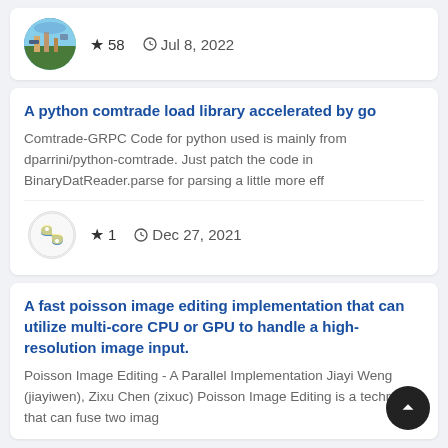[Figure (photo): Circular avatar showing aerial/city landscape with blue and green tones]
★ 58   🕐 Jul 8, 2022
A python comtrade load library accelerated by go
Comtrade-GRPC Code for python used is mainly from dparrini/python-comtrade. Just patch the code in BinaryDatReader.parse for parsing a little more eff
[Figure (logo): Circular avatar with colorful snake/python-like icon on white background]
★ 1   🕐 Dec 27, 2021
A fast poisson image editing implementation that can utilize multi-core CPU or GPU to handle a high-resolution image input.
Poisson Image Editing - A Parallel Implementation Jiayi Weng (jiayiwen), Zixu Chen (zixuc) Poisson Image Editing is a technique that can fuse two imag